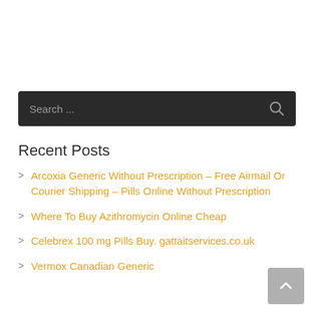[Figure (screenshot): Dark search bar with placeholder text 'Search ...' and a magnifying glass icon on the right]
Recent Posts
Arcoxia Generic Without Prescription – Free Airmail Or Courier Shipping – Pills Online Without Prescription
Where To Buy Azithromycin Online Cheap
Celebrex 100 mg Pills Buy. gattaitservices.co.uk
Vermox Canadian Generic